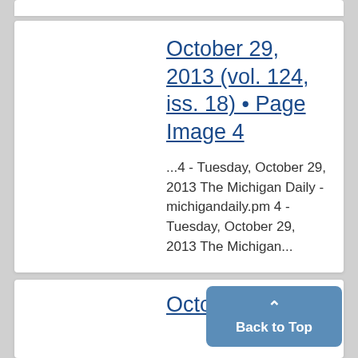October 29, 2013 (vol. 124, iss. 18) • Page Image 4
...4 - Tuesday, October 29, 2013 The Michigan Daily - michigandaily.pm 4 - Tuesday, October 29, 2013 The Michigan...
Octobe